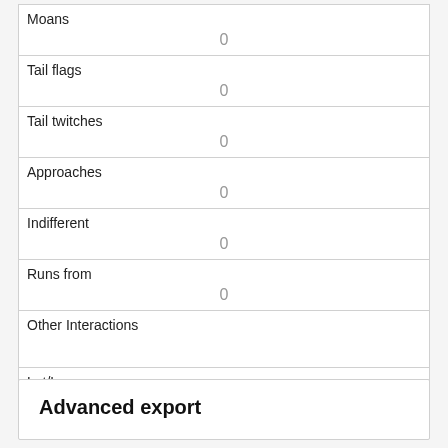| Moans | 0 |
| Tail flags | 0 |
| Tail twitches | 0 |
| Approaches | 0 |
| Indifferent | 0 |
| Runs from | 0 |
| Other Interactions |  |
| Lat/Long | POINT (-73.9775099290913 40.7697609063137) |
Advanced export